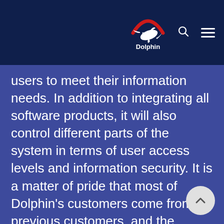[Figure (logo): Dolphin logo with red arc and white dolphin silhouette, text 'Dolphin' below, on dark navy header bar with search and menu icons]
users to meet their information needs. In addition to integrating all software products, it will also control different parts of the system in terms of user access levels and information security. It is a matter of pride that most of Dolphin's customers come from previous customers, and the company has not felt the need for heavy advertising so far. The Dolphin Group considers itself not commercial company, but rather a scientific and technological company.